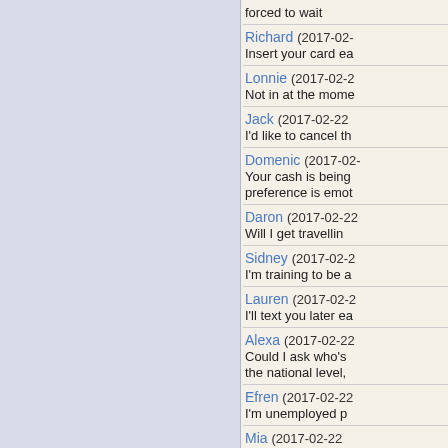forced to wait
Richard (2017-02-...
Insert your card ea...
Lonnie (2017-02-2...
Not in at the mome...
Jack (2017-02-22 ...
I'd like to cancel th...
Domenic (2017-02-...
Your cash is being ... preference is emot...
Daron (2017-02-22...
Will I get travellin...
Sidney (2017-02-2...
I'm training to be a...
Lauren (2017-02-2...
I'll text you later ea...
Alexa (2017-02-22...
Could I ask who's ... the national level,
Efren (2017-02-22...
I'm unemployed p...
Mia (2017-02-22 ...
A packet of envelo...